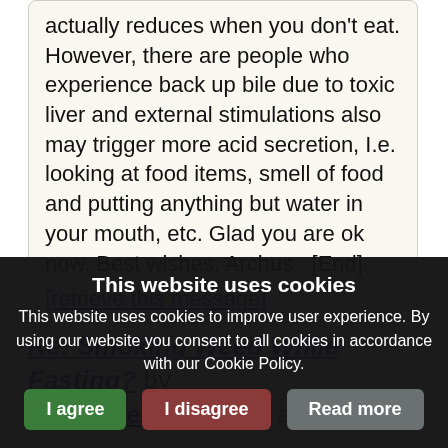actually reduces when you don't eat. However, there are people who experience back up bile due to toxic liver and external stimulations also may trigger more acid secretion, I.e. looking at food items, smell of food and putting anything but water in your mouth, etc. Glad you are ok now. Best wishes, Archus   [End]
[retrieve this message]
Re: Smoking Weed While Fasting? by silverbluehair  5 years ago  6,736  RN
This website uses cookies
This website uses cookies to improve user experience. By using our website you consent to all cookies in accordance with our Cookie Policy.